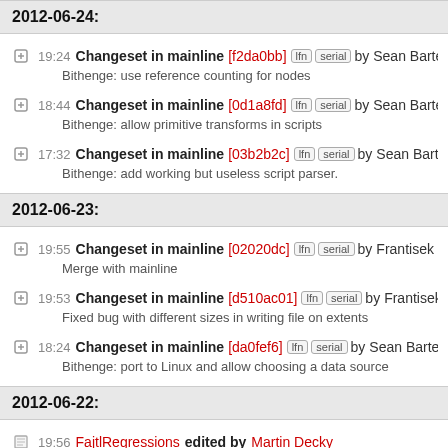2012-06-24:
19:24 Changeset in mainline [f2da0bb] lfn serial by Sean Bartell <wi
Bithenge: use reference counting for nodes
18:44 Changeset in mainline [0d1a8fd] lfn serial by Sean Bartell <wi
Bithenge: allow primitive transforms in scripts
17:32 Changeset in mainline [03b2b2c] lfn serial by Sean Bartell <wi
Bithenge: add working but useless script parser.
2012-06-23:
19:55 Changeset in mainline [02020dc] lfn serial by Frantisek Princ <
Merge with mainline
19:53 Changeset in mainline [d510ac01] lfn serial by Frantisek Princ
Fixed bug with different sizes in writing file on extents
18:24 Changeset in mainline [da0fef6] lfn serial by Sean Bartell <win
Bithenge: port to Linux and allow choosing a data source
2012-06-22:
19:56 FajtlRegressions edited by Martin Decky
remove probably misguided observation (diff)